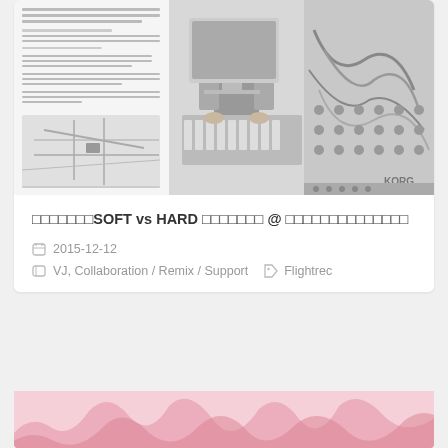[Figure (photo): A composite image showing Japanese text/flyer on the left, a person using a computer/synthesizer in the center, and a Korg modular synthesizer panel on the right, all in black and white.]
□□□□□□□SOFT vs HARD □□□□□□□ @ □□□□□□□□□□□□□□
2015-12-12
VJ, Collaboration / Remix / Support
Flightrec
[Figure (illustration): Partial view of a pink/salmon colored decorative illustration at the bottom of the page, showing wavy organic shapes.]